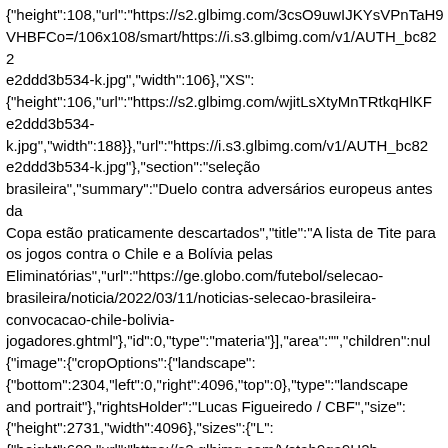{"height":108,"url":"https://s2.glbimg.com/3csO9uwIJKYsVPnTaH9VHBFCo=/106x108/smart/https://i.s3.glbimg.com/v1/AUTH_bc822e2ddd3b534-k.jpg","width":106},"XS": {"height":106,"url":"https://s2.glbimg.com/wjitLsXtyMnTRtkqHlKF e2ddd3b534- k.jpg","width":188}},"url":"https://i.s3.glbimg.com/v1/AUTH_bc82 e2ddd3b534-k.jpg"},"section":"seleção brasileira","summary":"Duelo contra adversários europeus antes da Copa estão praticamente descartados","title":"A lista de Tite para os jogos contra o Chile e a Bolívia pelas Eliminatórias","url":"https://ge.globo.com/futebol/selecao-brasileira/noticia/2022/03/11/noticias-selecao-brasileira-convocacao-chile-bolivia-jogadores.ghtml"},"id":0,"type":"materia"}],"area":"","children":null {"image":{"cropOptions":{"landscape": {"bottom":2304,"left":0,"right":4096,"top":0},"type":"landscape and portrait"},"rightsHolder":"Lucas Figueiredo / CBF","size": {"height":2731,"width":4096},"sizes":{"L": {"height":608,"url":"https://s2.glbimg.com/Vetab9ga9H2h-w1NAzpoilEU_l0=/0x0:4096x2304/1080x608/smart/filters:max_age {"height":456,"url":"https://s2.glbimg.com/ySm5KcwvHhWup2TCV {"height":94,"url":"https://s2.glbimg.com/ucnGbWUlHjrcSd0HWEx {"height":304,"url":"https://s2.glbimg.com/4C7q5nLWjalJxgy3p4DF {"height":620,"url":"https://s2.glbimg.com/R8uMgkh40Kf8g5fuSadr {"height":1080,"url":"https://s2.glbimg.com/cGnRj-